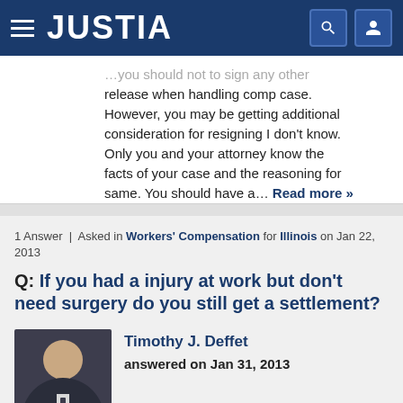JUSTIA
...you should not to sign any other release when handling comp case. However, you may be getting additional consideration for resigning I don't know. Only you and your attorney know the facts of your case and the reasoning for same. You should have a... Read more »
1 Answer | Asked in Workers' Compensation for Illinois on Jan 22, 2013
Q: If you had a injury at work but don't need surgery do you still get a settlement?
Timothy J. Deffet answered on Jan 31, 2013
[Figure (photo): Profile photo of Timothy J. Deffet, a man in a suit and tie]